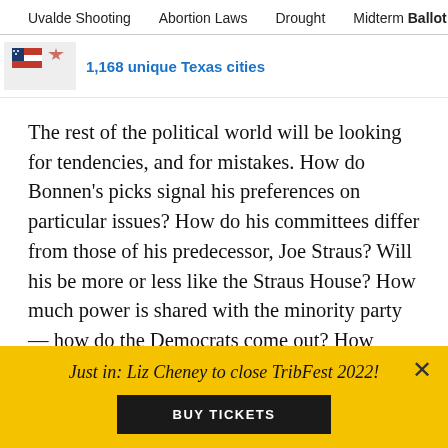Uvalde Shooting   Abortion Laws   Drought   Midterm Ballot
[Figure (other): Partial promo image with Texas flag graphic and link text '1,168 unique Texas cities' in bold teal/blue]
The rest of the political world will be looking for tendencies, and for mistakes. How do Bonnen’s picks signal his preferences on particular issues? How do his committees differ from those of his predecessor, Joe Straus? Will his be more or less like the Straus House? How much power is shared with the minority party — how do the Democrats come out? How diverse are the committees? Did urban, suburban or rural interests win or lose?
Just in: Liz Cheney to close TribFest 2022!
BUY TICKETS